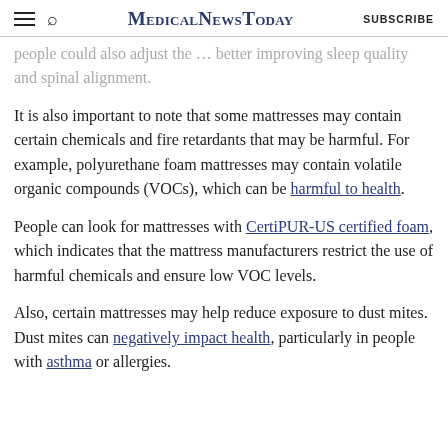MedicalNewsToday | SUBSCRIBE
people could also adjust the … better improving sleep quality and spinal alignment.
It is also important to note that some mattresses may contain certain chemicals and fire retardants that may be harmful. For example, polyurethane foam mattresses may contain volatile organic compounds (VOCs), which can be harmful to health.
People can look for mattresses with CertiPUR-US certified foam, which indicates that the mattress manufacturers restrict the use of harmful chemicals and ensure low VOC levels.
Also, certain mattresses may help reduce exposure to dust mites. Dust mites can negatively impact health, particularly in people with asthma or allergies.